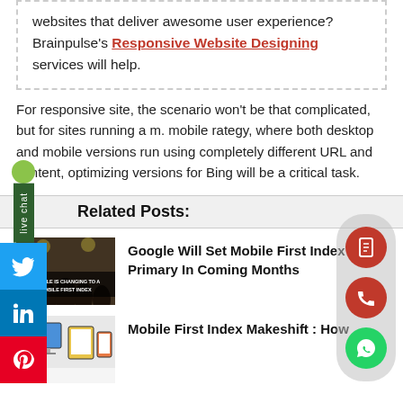websites that deliver awesome user experience? Brainpulse's Responsive Website Designing services will help.
For responsive site, the scenario won't be that complicated, but for sites running a m. mobile rategy, where both desktop and mobile versions run using completely different URL and content, optimizing versions for Bing will be a critical task.
Related Posts:
[Figure (photo): Audience at a conference, with text overlay: GOOGLE IS CHANGING TO A MOBILE FIRST INDEX]
Google Will Set Mobile First Index Primary In Coming Months
[Figure (screenshot): Screenshot showing mobile first index illustration]
Mobile First Index Makeshift : How